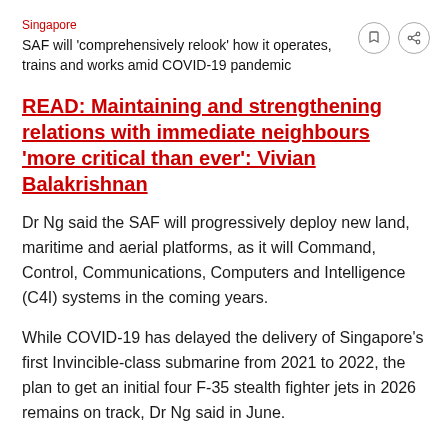Singapore
SAF will 'comprehensively relook' how it operates, trains and works amid COVID-19 pandemic
READ: Maintaining and strengthening relations with immediate neighbours 'more critical than ever': Vivian Balakrishnan
Dr Ng said the SAF will progressively deploy new land, maritime and aerial platforms, as it will Command, Control, Communications, Computers and Intelligence (C4I) systems in the coming years.
While COVID-19 has delayed the delivery of Singapore's first Invincible-class submarine from 2021 to 2022, the plan to get an initial four F-35 stealth fighter jets in 2026 remains on track, Dr Ng said in June.